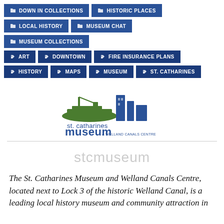DOWN IN COLLECTIONS
HISTORIC PLACES
LOCAL HISTORY
MUSEUM CHAT
MUSEUM COLLECTIONS
ART
DOWNTOWN
FIRE INSURANCE PLANS
HISTORY
MAPS
MUSEUM
ST. CATHARINES
[Figure (logo): St. Catharines Museum & Welland Canals Centre logo with a ship and building graphic in green and blue]
stcmuseum
The St. Catharines Museum and Welland Canals Centre, located next to Lock 3 of the historic Welland Canal, is a leading local history museum and community attraction in